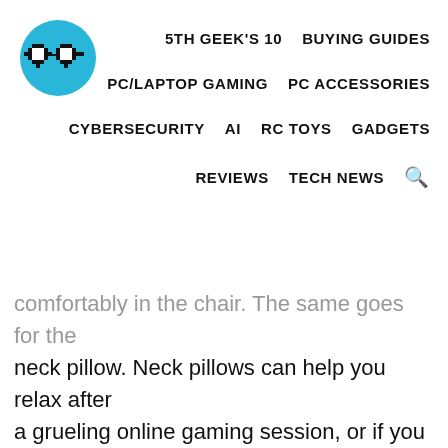[Figure (logo): Circular blue logo with pixel-art glasses icon in black]
5TH GEEK'S 10   BUYING GUIDES
PC/LAPTOP GAMING   PC ACCESSORIES
CYBERSECURITY   AI   RC TOYS   GADGETS
REVIEWS   TECH NEWS 🔍
comfortably in the chair. The same goes for the neck pillow. Neck pillows can help you relax after a grueling online gaming session, or if you have worked long on that project and need to rest your eyes for a few minutes.